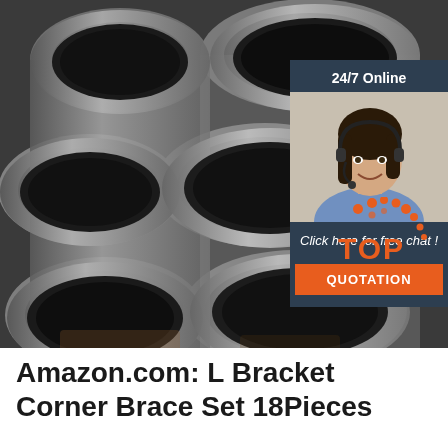[Figure (photo): Close-up photo of multiple stacked steel cylindrical pipes/tubes viewed from the ends, showing circular cross-sections with hollow centers. Image has a 24/7 Online customer chat widget overlay on the right side with an agent photo, 'Click here for free chat!' text, and an orange QUOTATION button. A TOP logo with orange dots is in the lower right.]
Amazon.com: L Bracket Corner Brace Set 18Pieces